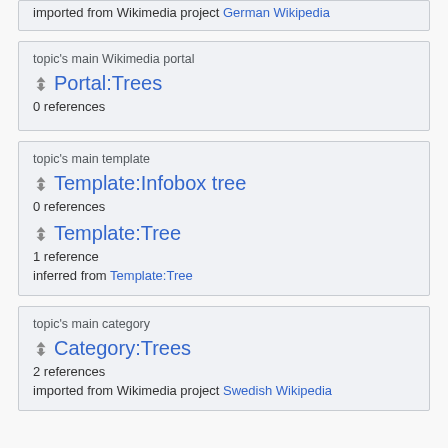imported from Wikimedia project German Wikipedia
topic's main Wikimedia portal
Portal:Trees
0 references
topic's main template
Template:Infobox tree
0 references
Template:Tree
1 reference
inferred from Template:Tree
topic's main category
Category:Trees
2 references
imported from Wikimedia project Swedish Wikipedia